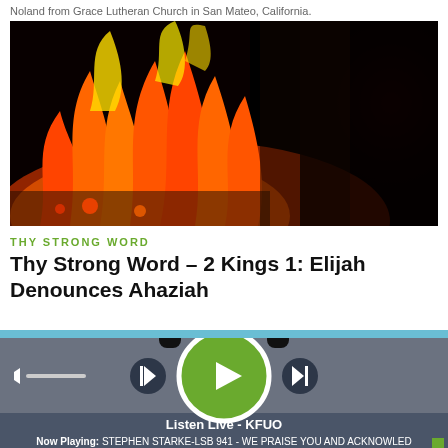Noland from Grace Lutheran Church in San Mateo, California.
[Figure (photo): Close-up photograph of bright orange and red flames burning against a dark background, dramatic fire imagery.]
THY STRONG WORD
Thy Strong Word – 2 Kings 1: Elijah Denounces Ahaziah
[Figure (other): Audio player bar with headphones icon overlay, green play button, previous and next track buttons, volume control slider, and now-playing information strip showing 'Listen Live - KFUO' and 'Now Playing: STEPHEN STARKE-LSB 941 - WE PRAISE YOU AND ACKNOWLED']